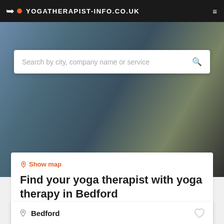YOGATHERAPIST-INFO.CO.UK
Search by city, company name or service
Show map
Find your yoga therapist with yoga therapy in Bedford
Find the best yoga therapist with yoga therapy in Bedford based on your criteria.
Filters
Bedford